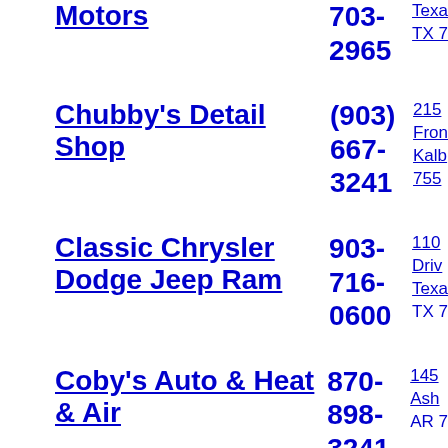Motors | 703-2965 | Texas TX
Chubby's Detail Shop | (903) 667-3241 | 215 From Kalb 755
Classic Chrysler Dodge Jeep Ram | 903-716-0600 | 110 Drive Texas TX
Coby's Auto & Heat & Air | 870-898-3241 | 145 Ash AR
Coker Buick Inc | (903) 793-4623 | 441 Line Texas TX